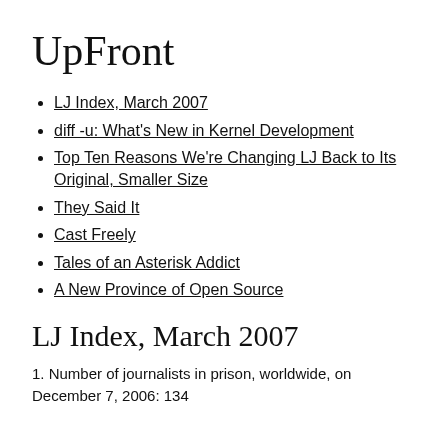UpFront
LJ Index, March 2007
diff -u: What's New in Kernel Development
Top Ten Reasons We're Changing LJ Back to Its Original, Smaller Size
They Said It
Cast Freely
Tales of an Asterisk Addict
A New Province of Open Source
LJ Index, March 2007
1. Number of journalists in prison, worldwide, on December 7, 2006: 134